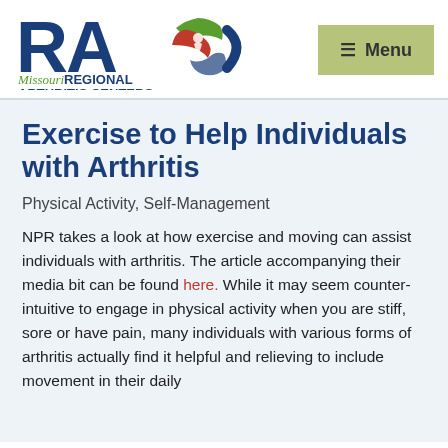[Figure (logo): Missouri Regional Arthritis Centers (RAC) logo with large blue RAC letters and a circular multi-color icon]
[Figure (screenshot): Green menu button with hamburger icon and 'Menu' text]
Exercise to Help Individuals with Arthritis
Physical Activity, Self-Management
NPR takes a look at how exercise and moving can assist individuals with arthritis. The article accompanying their media bit can be found here. While it may seem counter-intuitive to engage in physical activity when you are stiff, sore or have pain, many individuals with various forms of arthritis actually find it helpful and relieving to include movement in their daily